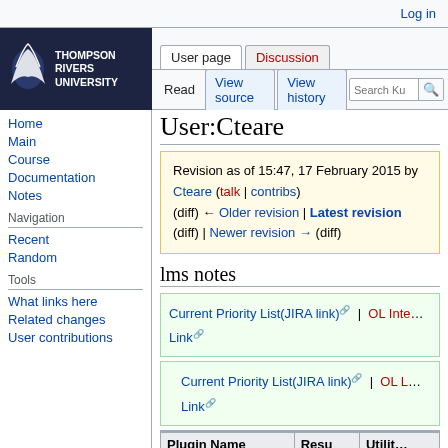Log in
[Figure (logo): Thompson Rivers University logo with white bird/mountain graphic on dark background and bold white text]
User page | Discussion | Read | View source | View history | Search Ku
Home
Main
Course
Documentation
Notes
Navigation
Recent
Random
Tools
What links here
Related changes
User contributions
User:Cteare
Revision as of 15:47, 17 February 2015 by Cteare (talk | contribs) (diff) ← Older revision | Latest revision (diff) | Newer revision → (diff)
lms notes
Current Priority List(JIRA link) | OL Inte... Link
Current Priority List(JIRA link) | OL L... Link
| Plugin Name | Resu | Utilit... |
| --- | --- | --- |